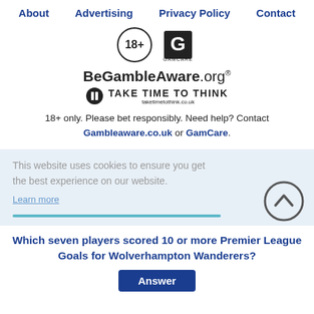About   Advertising   Privacy Policy   Contact
[Figure (logo): 18+ circle logo and GamCare logo]
[Figure (logo): BeGambleAware.org logo with Take Time To Think tagline]
18+ only. Please bet responsibly. Need help? Contact Gambleaware.co.uk or GamCare.
This website uses cookies to ensure you get the best experience on our website. Learn more
Which seven players scored 10 or more Premier League Goals for Wolverhampton Wanderers?
Answer